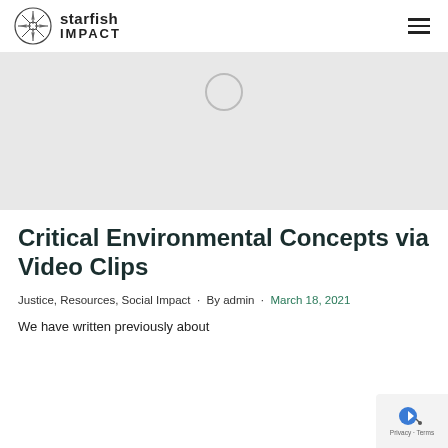starfish IMPACT
[Figure (screenshot): Video loading placeholder with a spinner circle on a light gray background]
Critical Environmental Concepts via Video Clips
Justice, Resources, Social Impact · By admin · March 18, 2021
We have written previously about